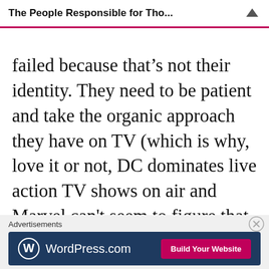The People Responsible for Tho...
failed because that's not their identity. They need to be patient and take the organic approach they have on TV (which is why, love it or not, DC dominates live action TV shows on air and Marvel can't seem to figure that out).
Advertisements
[Figure (screenshot): WordPress.com advertisement banner with logo and 'Build Your Website' button]